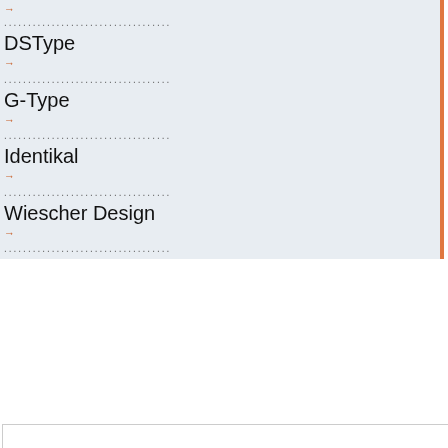→
...................................
DSType
→
...................................
G-Type
→
...................................
Identikal
→
...................................
Wiescher Design
→
...................................
[Figure (screenshot): Search box UI element with gray bar at bottom]
Font not found? Please note that not every font we sell is available to buy online from our website; we carry a huge range of fonts and not everything is represented on type.co.uk. If you can't find what you need there is every chance we stock it but you'll need to call +44 (0)20 7226 4411 or email us to place your order. We will then be able to email your order to you within the hour (UK hours of business 9am - 6pm, Monday to Friday).
What to expect from the resulting page... The Search engine will return any instances it can find of your specified search, including all family names and single weights. However the family pack may also contain more weights than are shown in the initial search (which is conducted by name, not family contents). So if you wish to